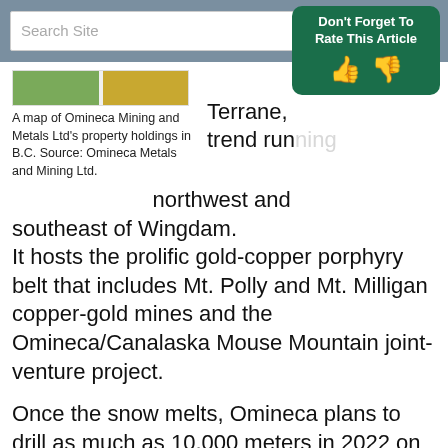Search Site
[Figure (infographic): Don't Forget To Rate This Article button with thumbs up and thumbs down icons on dark green background]
A map of Omineca Mining and Metals Ltd's property holdings in B.C. Source: Omineca Metals and Mining Ltd.
Terrane, trend running northwest and southeast of Wingdam. It hosts the prolific gold-copper porphyry belt that includes Mt. Polly and Mt. Milligan copper-gold mines and the Omineca/Canalaska Mouse Mountain joint-venture project.
Once the snow melts, Omineca plans to drill as much as 10,000 meters in 2022 on three separate targets: Mary Creek, roughly seven kilometers northwest of Wingdam; and